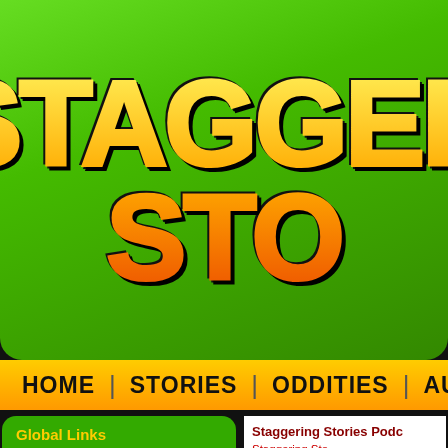[Figure (logo): Staggering Stories website header with large stylized text 'STAGGER STO' in yellow-orange gradient on green background]
HOME | STORIES | ODDITIES | AUDIO | MU
Global Links
Facebook Group
YouTube Channel
Doctor Who Podcast Alliance
Staggering Stories Podc
Staggering Sto
[Figure (logo): Staggering Stories Podcast logo with cartoon characters and orange/green logo text]
Recent Posts
08-07-2022
Staggering Stories Podcast #399:
[Figure (screenshot): Audio player showing play button and 00:00 timestamp with progress bar]